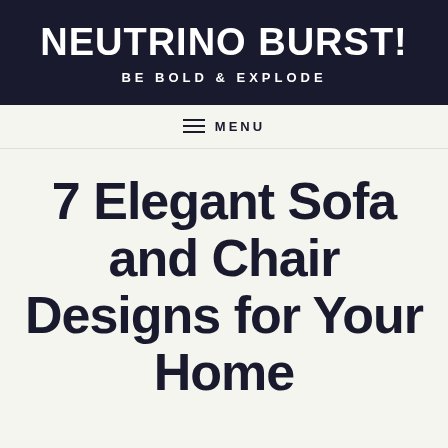NEUTRINO BURST! BE BOLD & EXPLODE
MENU
7 Elegant Sofa and Chair Designs for Your Home